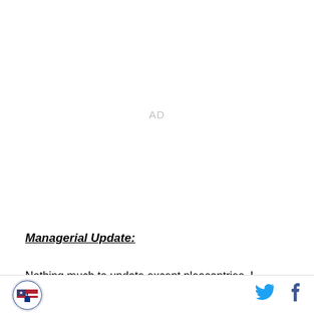AD
Managerial Update:
Nothing much to update except pleasantries. I
[logo] [Twitter] [Facebook]